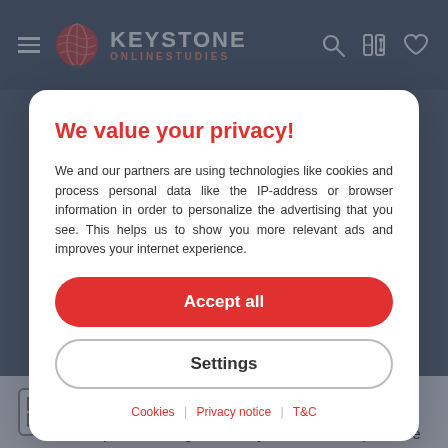[Figure (logo): Keystone Online Studies logo with globe icon, hamburger menu, and header icons for search, comparison, and favorites]
We value your privacy!
We and our partners are using technologies like cookies and process personal data like the IP-address or browser information in order to personalize the advertising that you see. This helps us to show you more relevant ads and improves your internet experience.
Accept all
Settings
Cookies | Privacy notice | T&C
Online courses are a great way for students to develop a deeper knowledge of a subject without the pressure